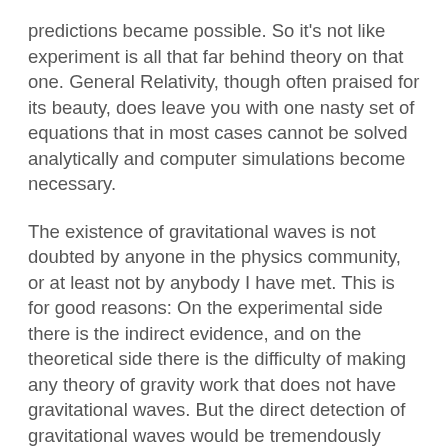predictions became possible. So it's not like experiment is all that far behind theory on that one. General Relativity, though often praised for its beauty, does leave you with one nasty set of equations that in most cases cannot be solved analytically and computer simulations become necessary.
The existence of gravitational waves is not doubted by anyone in the physics community, or at least not by anybody I have met. This is for good reasons: On the experimental side there is the indirect evidence, and on the theoretical side there is the difficulty of making any theory of gravity work that does not have gravitational waves. But the direct detection of gravitational waves would be tremendously exciting because it opens our eyes to an entirely new view on the universe.
Hundreds of millions of years ago, a primitive form of life crawled out of the water on planet Earth and opened their eyes to see, for the first time, the light of the stars. Detecting gravitational waves is a momentous event just like this – it's the first time we can receive signals that were previously entirely hidden from us, revealing an entirely new layer of